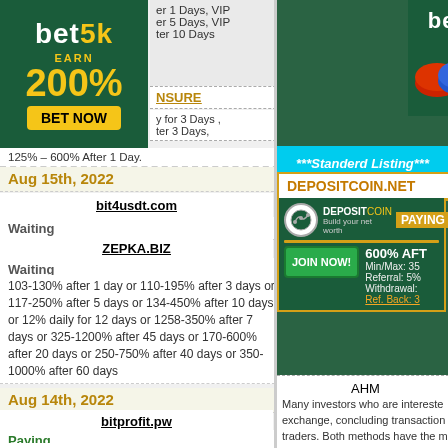[Figure (logo): bet5k logo banner with EARN 200% and BET NOW button on dark green background]
er 1 Days, VIP er 5 Days, VIP ter 10 Days
INSURE
y for 3 Days , ter 3 Days,
125% – 600% after 1 Day.
Aug 15th, 2022
bit4usdt.com
Waiting
ZEPKA.BIZ
Waiting
103-130% after 1 day or 110-195% after 3 days or 117-250% after 5 days or 134-450% after 10 days or 12% daily for 12 days or 1258-350% after 7 days or 325-1200% after 45 days or 170-600% after 20 days or 250-750% after 40 days or 350-1000% after 60 days
Aug 14th, 2022
bitprofit.pw
Paying
400% AFTER 1 DAY,1000% AFTER 3 DAYS,1500% AFTER
AHM
DepositRich stable footing security feat the world.
[Figure (logo): bet5k logo on dark green background with coins]
[Figure (logo): Perfect Money - WE ACCEPT logo]
***Standerd Listing***
DEPOSITCOIN.NET
[Figure (logo): DEPOSITCOIN Build your net worth logo with JOIN NOW button and PAYING label; 600% AFT, Min/Max: 35, Referral: 5%, Withdrawal:, Ref. Back: 3]
AHM
Many investors who are interested exchange, concluding transaction traders. Both methods have the m processes taking place on the tra trading strategy and be psycholo